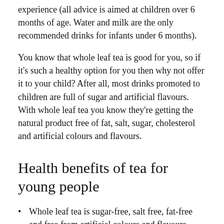experience (all advice is aimed at children over 6 months of age. Water and milk are the only recommended drinks for infants under 6 months).
You know that whole leaf tea is good for you, so if it's such a healthy option for you then why not offer it to your child? After all, most drinks promoted to children are full of sugar and artificial flavours. With whole leaf tea you know they're getting the natural product free of fat, salt, sugar, cholesterol and artificial colours and flavours.
Health benefits of tea for young people
Whole leaf tea is sugar-free, salt free, fat-free and free from artificial colours and flavours.
Tea contains catechins which help fight harmful